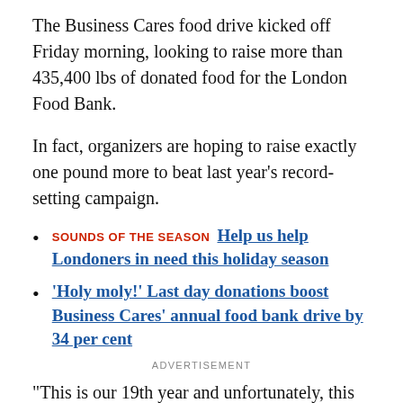The Business Cares food drive kicked off Friday morning, looking to raise more than 435,400 lbs of donated food for the London Food Bank.
In fact, organizers are hoping to raise exactly one pound more to beat last year's record-setting campaign.
SOUNDS OF THE SEASON   Help us help Londoners in need this holiday season
'Holy moly!' Last day donations boost Business Cares' annual food bank drive by 34 per cent
ADVERTISEMENT
"This is our 19th year and unfortunately, this won't be the end of it," said campaign chair Wayne Dunn.